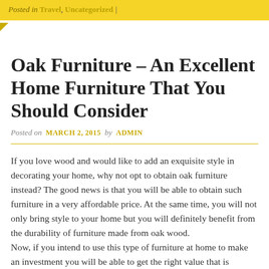Posted in Travel, Uncategorized |
Oak Furniture – An Excellent Home Furniture That You Should Consider
Posted on MARCH 2, 2015 by ADMIN
If you love wood and would like to add an exquisite style in decorating your home, why not opt to obtain oak furniture instead? The good news is that you will be able to obtain such furniture in a very affordable price. At the same time, you will not only bring style to your home but you will definitely benefit from the durability of furniture made from oak wood.
Now, if you intend to use this type of furniture at home to make an investment you will be able to get the right value that is practical with your own budget. The